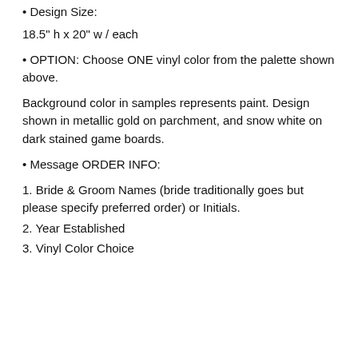• Design Size:
18.5" h x 20" w / each
• OPTION: Choose ONE vinyl color from the palette shown above.
Background color in samples represents paint. Design shown in metallic gold on parchment, and snow white on dark stained game boards.
• Message ORDER INFO:
1. Bride & Groom Names (bride traditionally goes but please specify preferred order) or Initials.
2. Year Established
3. Vinyl Color Choice